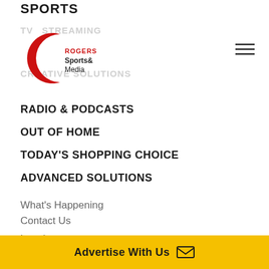SPORTS
[Figure (logo): Rogers Sports & Media logo with red crescent shape, overlaid with faded navigation text: TV STREAMING and CREATIVE SOLUTIONS]
RADIO & PODCASTS
OUT OF HOME
TODAY'S SHOPPING CHOICE
ADVANCED SOLUTIONS
What's Happening
Contact Us
Legal
Privacy Poli...
Advertise With Us